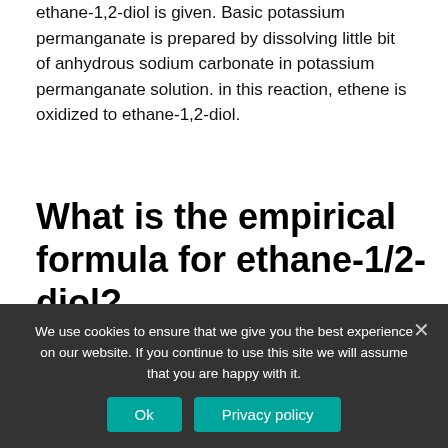ethane-1,2-diol is given. Basic potassium permanganate is prepared by dissolving little bit of anhydrous sodium carbonate in potassium permanganate solution. in this reaction, ethene is oxidized to ethane-1,2-diol.
What is the empirical formula for ethane-1/2-diol?
| IUPAC Name | ethane-1,2-diol |
| --- | --- |
| Alternative Names | 1,2-ethanediol Ethane-1,2-diol 1,2-Dihydroxyethane 2-hydroxyethanol |
We use cookies to ensure that we give you the best experience on our website. If you continue to use this site we will assume that you are happy with it.